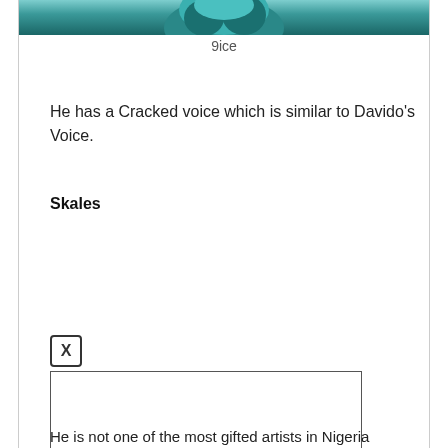[Figure (photo): Top portion of a photo showing a person wearing a teal/turquoise sequined or textured outfit, cropped at top of the page]
9ice
He has a Cracked voice which is similar to Davido's Voice.
Skales
[Figure (photo): An image placeholder box with an X icon above it, representing a photo of Skales that failed to load or is being inserted]
He is not one of the most gifted artists in Nigeria